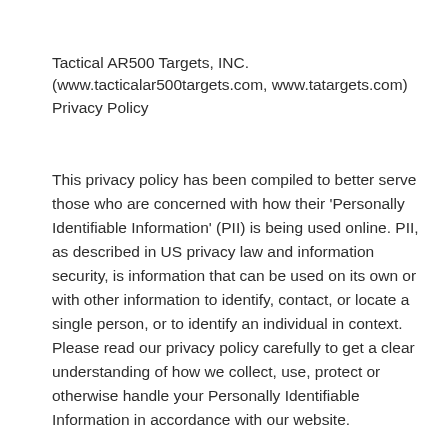Tactical AR500 Targets, INC.
(www.tacticalar500targets.com, www.tatargets.com)
Privacy Policy
This privacy policy has been compiled to better serve those who are concerned with how their 'Personally Identifiable Information' (PII) is being used online. PII, as described in US privacy law and information security, is information that can be used on its own or with other information to identify, contact, or locate a single person, or to identify an individual in context. Please read our privacy policy carefully to get a clear understanding of how we collect, use, protect or otherwise handle your Personally Identifiable Information in accordance with our website.